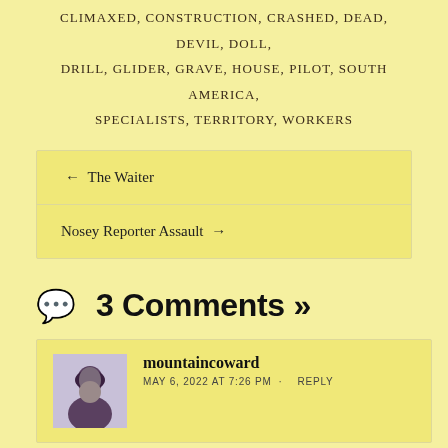CLIMAXED, CONSTRUCTION, CRASHED, DEAD, DEVIL, DOLL, DRILL, GLIDER, GRAVE, HOUSE, PILOT, SOUTH AMERICA, SPECIALISTS, TERRITORY, WORKERS
← The Waiter
Nosey Reporter Assault →
3 Comments »
mountaincoward
MAY 6, 2022 AT 7:26 PM · REPLY